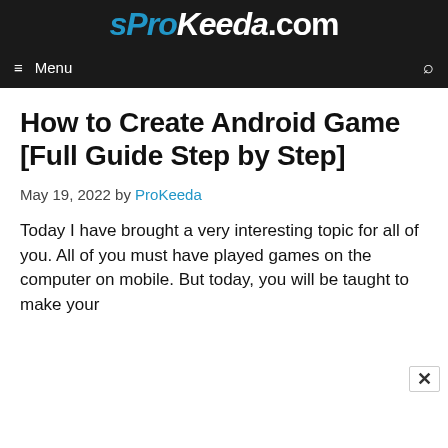sProKeeda.com
Menu
How to Create Android Game [Full Guide Step by Step]
May 19, 2022 by ProKeeda
Today I have brought a very interesting topic for all of you. All of you must have played games on the computer on mobile. But today, you will be taught to make your